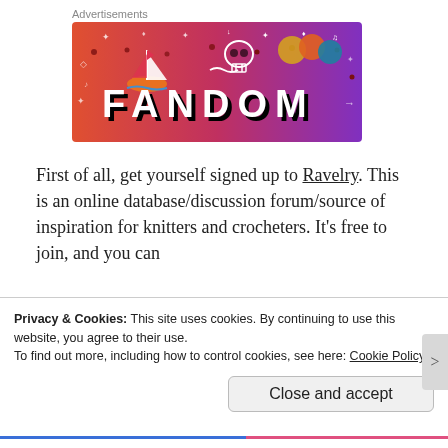Advertisements
[Figure (illustration): Fandom advertisement banner with gradient background from orange/red to purple, featuring illustrated icons (sailboat, skull, dice), white doodles, and large bold text reading FANDOM]
First of all, get yourself signed up to Ravelry. This is an online database/discussion forum/source of inspiration for knitters and crocheters. It's free to join, and you can
Privacy & Cookies: This site uses cookies. By continuing to use this website, you agree to their use.
To find out more, including how to control cookies, see here: Cookie Policy
Close and accept